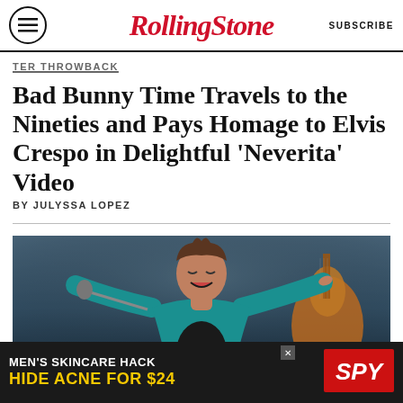RollingStone | SUBSCRIBE
TER THROWBACK
Bad Bunny Time Travels to the Nineties and Pays Homage to Elvis Crespo in Delightful 'Neverita' Video
BY JULYSSA LOPEZ
[Figure (photo): Performer on stage wearing a teal/turquoise sequined jacket, arms outstretched, holding a microphone, mouth open singing, with a guitar visible in the background.]
MEN'S SKINCARE HACK HIDE ACNE FOR $24 / SPY